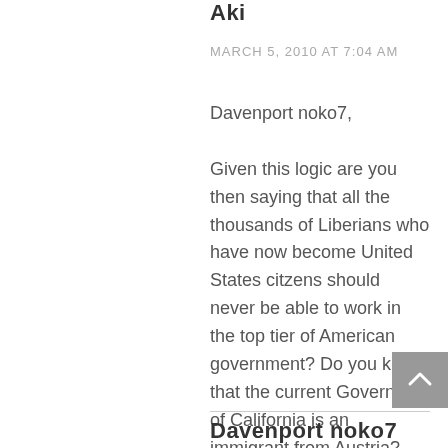Aki
MARCH 5, 2010 AT 7:04 AM
Davenport noko7,

Given this logic are you then saying that all the thousands of Liberians who have now become United States citzens should never be able to work in the top tier of American government? Do you know that the current Governor of California is an immigrant from Austria? Your statements above show a prejudice to naturalized Liberians.
Davenport noko7